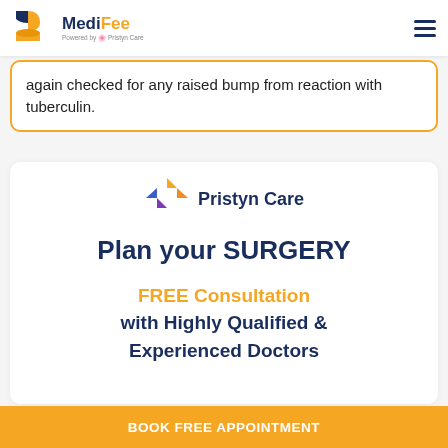MediFee | Powered by Pristyn Care
again checked for any raised bump from reaction with tuberculin.
[Figure (logo): Pristyn Care logo with Plan your SURGERY and FREE Consultation with Highly Qualified & Experienced Doctors advertisement card]
BOOK FREE APPOINTMENT